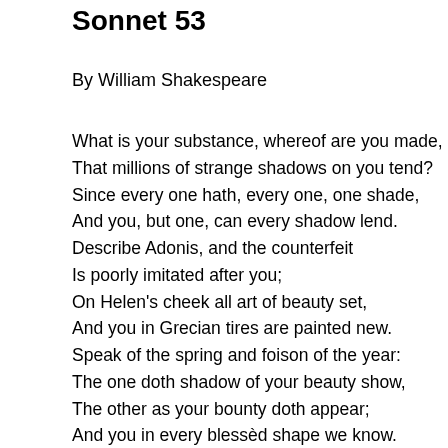Sonnet 53
By William Shakespeare
What is your substance, whereof are you made,
That millions of strange shadows on you tend?
Since every one hath, every one, one shade,
And you, but one, can every shadow lend.
Describe Adonis, and the counterfeit
Is poorly imitated after you;
On Helen's cheek all art of beauty set,
And you in Grecian tires are painted new.
Speak of the spring and foison of the year:
The one doth shadow of your beauty show,
The other as your bounty doth appear;
And you in every blessèd shape we know.
    In all external grace you have some part,
    But you like none, none you, for constant heart.